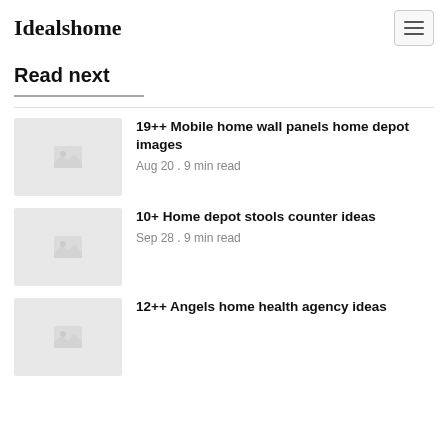Idealshome
Read next
19++ Mobile home wall panels home depot images
Aug 20 . 9 min read
10+ Home depot stools counter ideas
Sep 28 . 9 min read
12++ Angels home health agency ideas